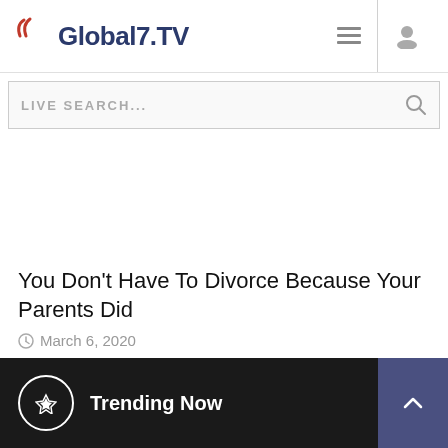Global7.TV
LIVE SEARCH...
[Figure (other): Blank white image area placeholder]
You Don't Have To Divorce Because Your Parents Did
March 6, 2020
Read more
Trending Now